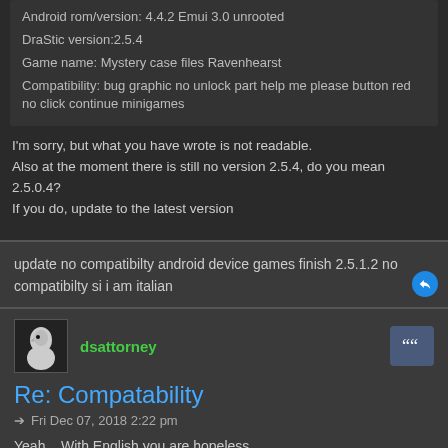Android rom/version: 4.4.2 Emui 3.0 unrooted
DraStic version:2.5.4
Game name: Mystery case files Ravenhearst
Compatibility: bug graphic no unlock part help me please button red no click continue minigames
I'm sorry, but what you have wrote is not readable.
Also at the moment there is still no version 2.5.4, do you mean 2.5.0.4?
If you do, update to the latest version
update no compatibilty android device games finish 2.5.1.2 no compatibilty si i am italian
dsattorney
Re: Compatability
Fri Dec 07, 2018 2:22 pm
Yeah... With English you are hopeless...
OBJECTION!